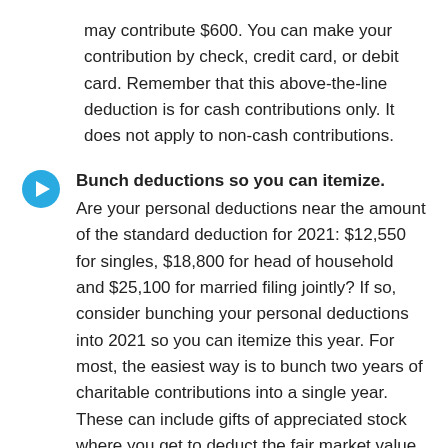may contribute $600. You can make your contribution by check, credit card, or debit card. Remember that this above-the-line deduction is for cash contributions only. It does not apply to non-cash contributions.
Bunch deductions so you can itemize. Are your personal deductions near the amount of the standard deduction for 2021: $12,550 for singles, $18,800 for head of household and $25,100 for married filing jointly? If so, consider bunching your personal deductions into 2021 so you can itemize this year. For most, the easiest way is to bunch two years of charitable contributions into a single year. These can include gifts of appreciated stock where you get to deduct the fair market value without